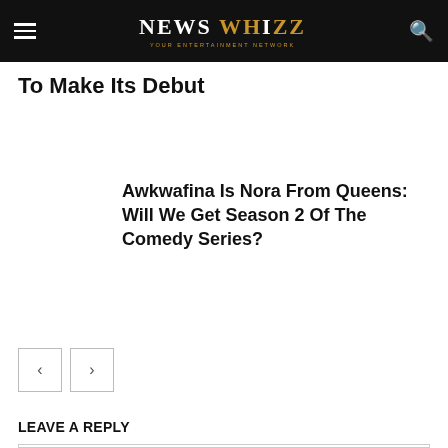NEWS WHIZZ
To Make Its Debut
Awkwafina Is Nora From Queens: Will We Get Season 2 Of The Comedy Series?
LEAVE A REPLY
Comment: